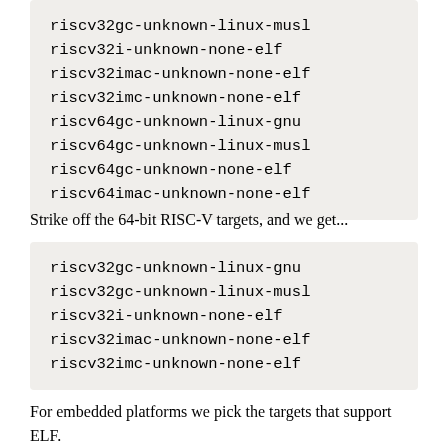riscv32gc-unknown-linux-musl
riscv32i-unknown-none-elf
riscv32imac-unknown-none-elf
riscv32imc-unknown-none-elf
riscv64gc-unknown-linux-gnu
riscv64gc-unknown-linux-musl
riscv64gc-unknown-none-elf
riscv64imac-unknown-none-elf
Strike off the 64-bit RISC-V targets, and we get...
riscv32gc-unknown-linux-gnu
riscv32gc-unknown-linux-musl
riscv32i-unknown-none-elf
riscv32imac-unknown-none-elf
riscv32imc-unknown-none-elf
For embedded platforms we pick the targets that support ELF.